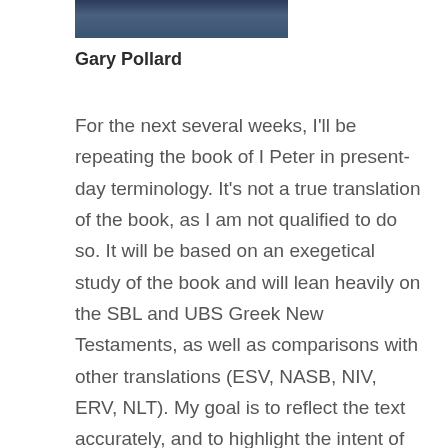[Figure (photo): Partial photo of Gary Pollard, showing lower portion of his face/neck area, wearing what appears to be a dark top]
Gary Pollard
For the next several weeks, I'll be repeating the book of I Peter in present-day terminology. It's not a true translation of the book, as I am not qualified to do so. It will be based on an exegetical study of the book and will lean heavily on the SBL and UBS Greek New Testaments, as well as comparisons with other translations (ESV, NASB, NIV, ERV, NLT). My goal is to reflect the text accurately, and to highlight the intent of the author using concepts and